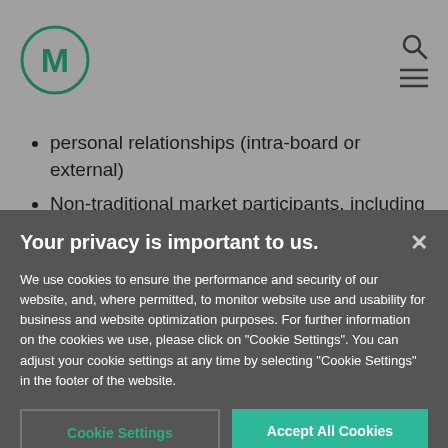[Figure (logo): Circular logo with letter M in dark teal, navigation icons (search and hamburger menu) on the right]
personal relationships (intra-board or external)
Non-traditional market participants, including high-tech market disrupters and powerful new organizations formed by vertical or horizontal
Your privacy is important to us.
We use cookies to ensure the performance and security of our website, and, where permitted, to monitor website use and usability for business and website optimization purposes. For further information on the cookies we use, please click on "Cookie Settings". You can adjust your cookie settings at any time by selecting "Cookie Settings" in the footer of the website.
Cookie Settings
Accept All Cookies